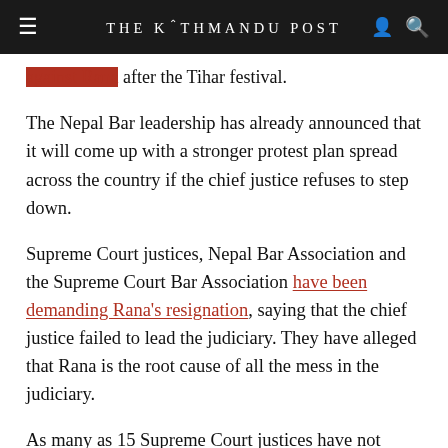THE KATHMANDU POST
against Rana after the Tihar festival.
The Nepal Bar leadership has already announced that it will come up with a stronger protest plan spread across the country if the chief justice refuses to step down.
Supreme Court justices, Nepal Bar Association and the Supreme Court Bar Association have been demanding Rana's resignation, saying that the chief justice failed to lead the judiciary. They have alleged that Rana is the root cause of all the mess in the judiciary.
As many as 15 Supreme Court justices have not heard cases, except for those related to habeas corpus, for the last nine day
The justices are already under moral pressure, as questions have arisen over their moral and constitutional duty. The justices